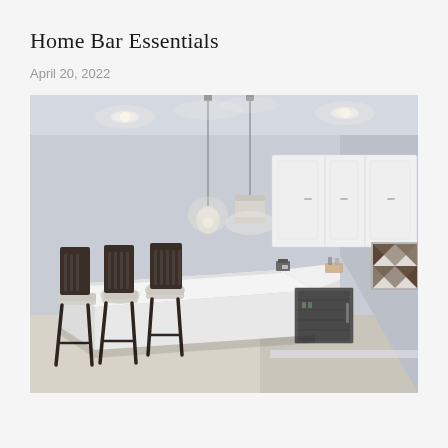Home Bar Essentials
April 20, 2022
[Figure (photo): Interior photo of a modern home bar with a white kitchen island countertop, three dark wood bar stools, white upper cabinets, pendant lights hanging from the ceiling, a built-in wine cooler/refrigerator under the counter, and a decorative geometric artwork on the wall. The room has light gray walls and light colored flooring.]